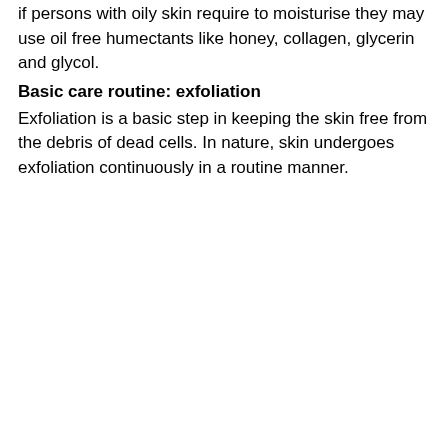if persons with oily skin require to moisturise they may use oil free humectants like honey, collagen, glycerin and glycol.
Basic care routine: exfoliation
Exfoliation is a basic step in keeping the skin free from the debris of dead cells. In nature, skin undergoes exfoliation continuously in a routine manner.